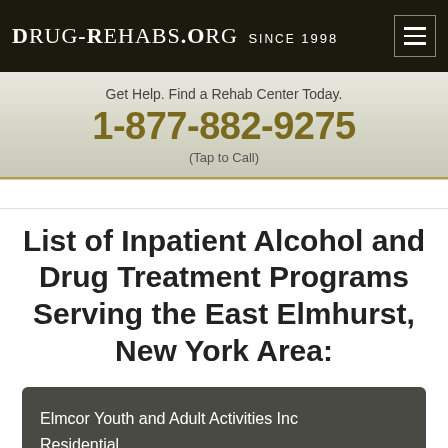DRUG-REHABS.ORG SINCE 1998
Get Help. Find a Rehab Center Today.
1-877-882-9275
(Tap to Call)
List of Inpatient Alcohol and Drug Treatment Programs Serving the East Elmhurst, New York Area:
Elmcor Youth and Adult Activities Inc
Residential